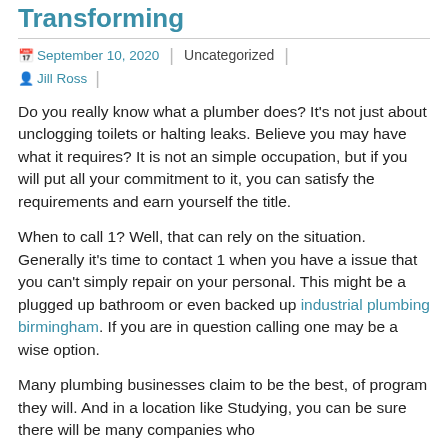Transforming
September 10, 2020 | Uncategorized | Jill Ross
Do you really know what a plumber does? It’s not just about unclogging toilets or halting leaks. Believe you may have what it requires? It is not an simple occupation, but if you will put all your commitment to it, you can satisfy the requirements and earn yourself the title.
When to call 1? Well, that can rely on the situation. Generally it’s time to contact 1 when you have a issue that you can’t simply repair on your personal. This might be a plugged up bathroom or even backed up industrial plumbing birmingham. If you are in question calling one may be a wise option.
Many plumbing businesses claim to be the best, of program they will. And in a location like Studying, you can be sure there will be many companies who